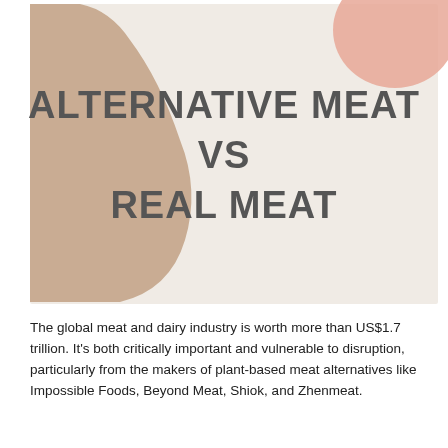[Figure (illustration): Infographic cover image with light beige/cream background. A large rounded organic brown/tan shape on the left side, and a salmon/pink rounded shape in the upper right corner. Bold dark gray text in the center reads 'ALTERNATIVE MEAT VS REAL MEAT'.]
The global meat and dairy industry is worth more than US$1.7 trillion. It's both critically important and vulnerable to disruption, particularly from the makers of plant-based meat alternatives like Impossible Foods, Beyond Meat, Shiok, and Zhenmeat.